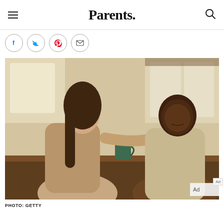Parents.
[Figure (screenshot): Social sharing icons: Facebook, Twitter, Pinterest, Email — each in a circle]
[Figure (photo): A woman and a man sitting across a table with coffee mugs, the woman reaching out to touch the man's face. Indoor warm-toned setting with windows in background.]
PHOTO: GETTY